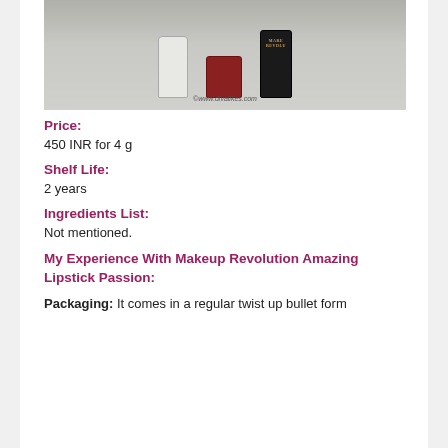[Figure (photo): Photo of three cosmetic products on a light grey fabric background: a white bottle, a red lip product container, and a dark Make Revolution bottle. Watermark reads ©www.divalikes.com]
Price:
450 INR for 4 g
Shelf Life:
2 years
Ingredients List:
Not mentioned.
My Experience With Makeup Revolution Amazing Lipstick Passion:
Packaging: It comes in a regular twist up bullet form